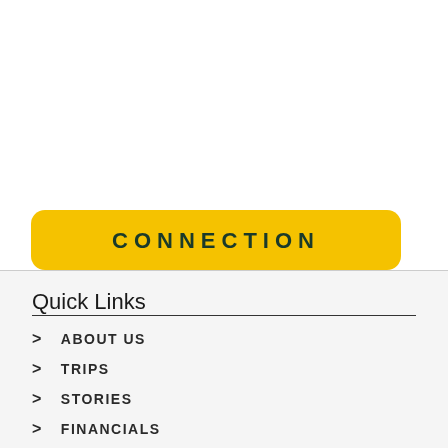CONNECTION
Quick Links
ABOUT US
TRIPS
STORIES
FINANCIALS